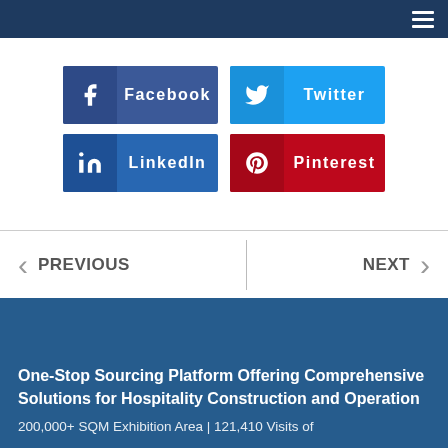Navigation bar with hamburger menu
[Figure (screenshot): Social share buttons: Facebook, Twitter, LinkedIn, Pinterest]
< PREVIOUS | NEXT >
One-Stop Sourcing Platform Offering Comprehensive Solutions for Hospitality Construction and Operation
200,000+ SQM Exhibition Area | 121,410 Visits of